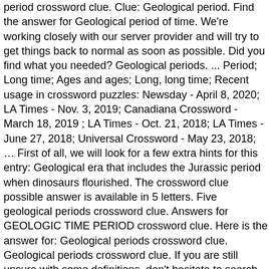period crossword clue. Clue: Geological period. Find the answer for Geological period of time. We're working closely with our server provider and will try to get things back to normal as soon as possible. Did you find what you needed? Geological periods. ... Period; Long time; Ages and ages; Long, long time; Recent usage in crossword puzzles: Newsday - April 8, 2020; LA Times - Nov. 3, 2019; Canadiana Crossword - March 18, 2019 ; LA Times - Oct. 21, 2018; LA Times - June 27, 2018; Universal Crossword - May 23, 2018; … First of all, we will look for a few extra hints for this entry: Geological era that includes the Jurassic period when dinosaurs flourished. The crossword clue possible answer is available in 5 letters. Five geological periods crossword clue. Answers for GEOLOGIC TIME PERIOD crossword clue. Here is the answer for: Geological periods crossword clue. Geological periods crossword clue. If you are still unsure with some definitions, don't hesitate to search them here with our crossword solver. Clue: Geological period of time. Please find below the Geological period of time answer and solution which is part of